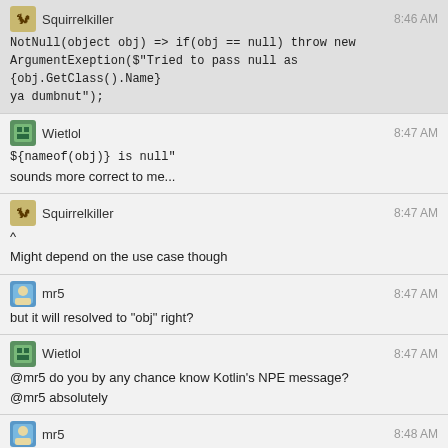Squirrelkiller 8:46 AM
NotNull(object obj) => if(obj == null) throw new ArgumentExeption($"Tried to pass null as {obj.GetClass().Name} ya dumbnut");
Wietlol 8:47 AM
${nameof(obj)} is null"
sounds more correct to me...
Squirrelkiller 8:47 AM
^
Might depend on the use case though
mr5 8:47 AM
but it will resolved to "obj" right?
Wietlol 8:47 AM
@mr5 do you by any chance know Kotlin's NPE message?
@mr5 absolutely
mr5 8:48 AM
@Wietlol nope
Wietlol 8:48 AM
ah
Squirrelkiller 8:48 AM
@Wietlol "may be null so I won't compile ya dumbnut"